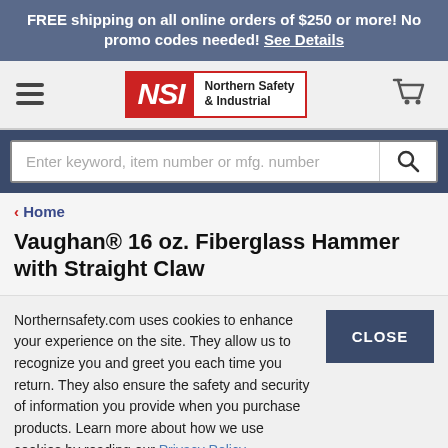FREE shipping on all online orders of $250 or more! No promo codes needed! See Details
[Figure (logo): Northern Safety & Industrial (NSI) logo with hamburger menu and cart icon]
Enter keyword, item number or mfg. number
< Home
Vaughan® 16 oz. Fiberglass Hammer with Straight Claw
Northernsafety.com uses cookies to enhance your experience on the site. They allow us to recognize you and greet you each time you return. They also ensure the safety and security of information you provide when you purchase products. Learn more about how we use cookies by reading our Privacy Policy.